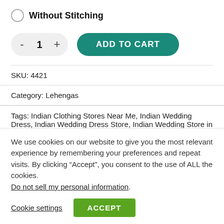Without Stitching
- 1 + ADD TO CART
SKU: 4421
Category: Lehengas
Tags: Indian Clothing Stores Near Me, Indian Wedding Dress, Indian Wedding Dress Store, Indian Wedding Store in UAE,
We use cookies on our website to give you the most relevant experience by remembering your preferences and repeat visits. By clicking “Accept”, you consent to the use of ALL the cookies. Do not sell my personal information.
Cookie settings  ACCEPT